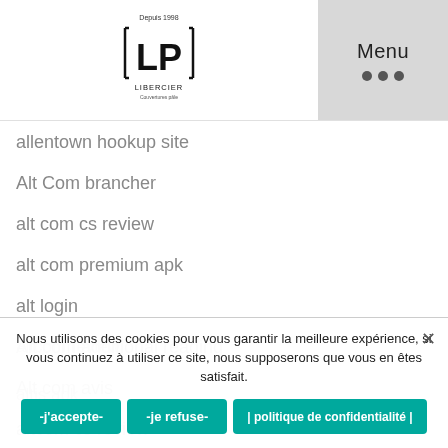[Figure (logo): LP Libercier logo with 'Depuis 1998' text at top, square bracket design around LP letters, and 'LIBERCIER' text below]
Menu
allentown hookup site
Alt Com brancher
alt com cs review
alt com premium apk
alt login
Alt.com additional reading
Alt.com avis
altcom cs review
altcom review
altis apk
Nous utilisons des cookies pour vous garantir la meilleure expérience, si vous continuez à utiliser ce site, nous supposerons que vous en êtes satisfait.
-j'accepte-  -je refuse-  | politique de confidentialité |